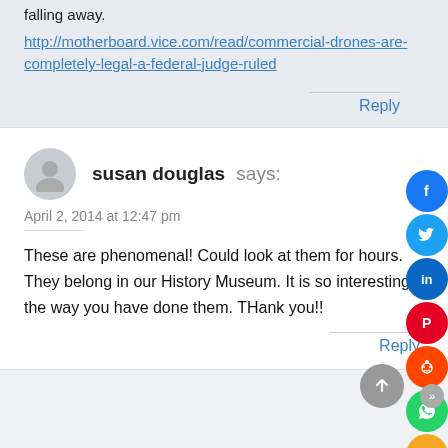falling away.
http://motherboard.vice.com/read/commercial-drones-are-completely-legal-a-federal-judge-ruled
Reply
susan douglas says:
April 2, 2014 at 12:47 pm
These are phenomenal! Could look at them for hours. They belong in our History Museum. It is so interesting the way you have done them. THank you!!
Reply